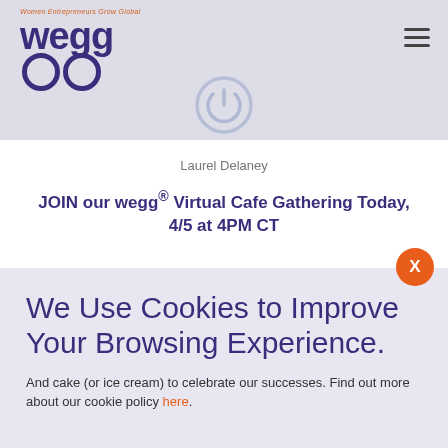wegg® — Women Entrepreneurs Grow Global — navigation header with logo and hamburger menu
Laurel Delaney
JOIN our wegg® Virtual Cafe Gathering Today, 4/5 at 4PM CT
We Use Cookies to Improve Your Browsing Experience. And cake (or ice cream) to celebrate our successes. Find out more about our cookie policy here.